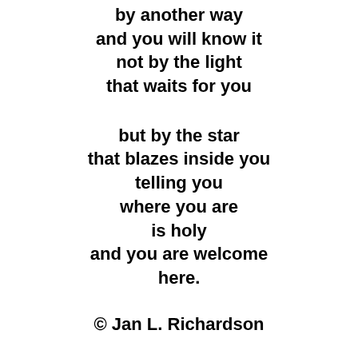by another way
and you will know it
not by the light
that waits for you
but by the star
that blazes inside you
telling you
where you are
is holy
and you are welcome
here.
© Jan L. Richardson